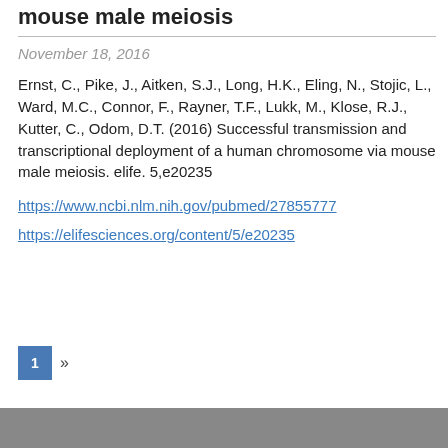mouse male meiosis
November 18, 2016
Ernst, C., Pike, J., Aitken, S.J., Long, H.K., Eling, N., Stojic, L., Ward, M.C., Connor, F., Rayner, T.F., Lukk, M., Klose, R.J., Kutter, C., Odom, D.T. (2016) Successful transmission and transcriptional deployment of a human chromosome via mouse male meiosis. elife. 5,e20235
https://www.ncbi.nlm.nih.gov/pubmed/27855777
https://elifesciences.org/content/5/e20235
1 »